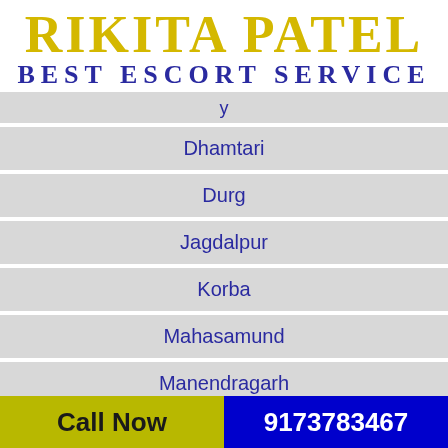RIKITA PATEL BEST ESCORT SERVICE
Dhamtari
Durg
Jagdalpur
Korba
Mahasamund
Manendragarh
Call Now  9173783467